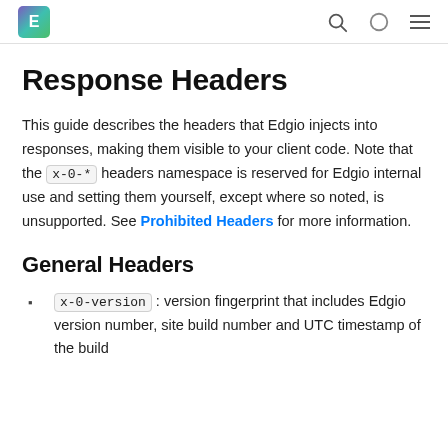E [logo] [search icon] [dark mode icon] [menu icon]
Response Headers
This guide describes the headers that Edgio injects into responses, making them visible to your client code. Note that the x-0-* headers namespace is reserved for Edgio internal use and setting them yourself, except where so noted, is unsupported. See Prohibited Headers for more information.
General Headers
x-0-version : version fingerprint that includes Edgio version number, site build number and UTC timestamp of the build